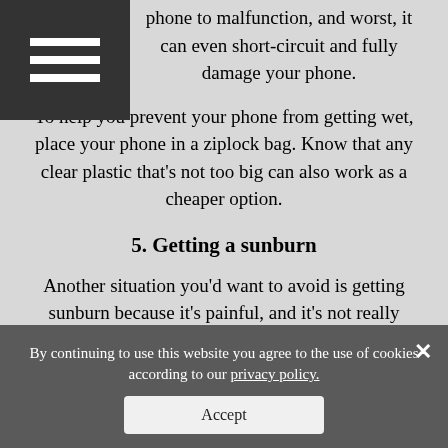phone to malfunction, and worst, it can even short-circuit and fully damage your phone.
To help you prevent your phone from getting wet, place your phone in a ziplock bag. Know that any clear plastic that's not too big can also work as a cheaper option.
5. Getting a sunburn
Another situation you'd want to avoid is getting sunburn because it's painful, and it's not really ideal to have sunburn marks during your vacation. To avoid getting sunburnt, use sunblocks, and make sure to cover any exposed part of your body.
By continuing to use this website you agree to the use of cookies according to our privacy policy.